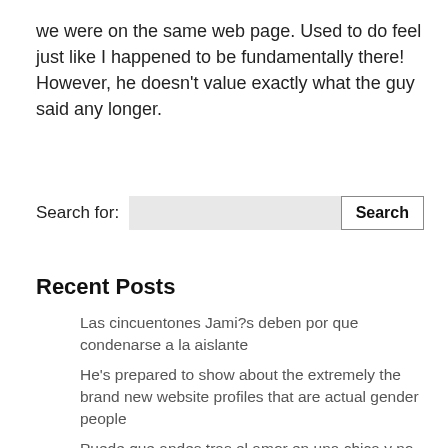we were on the same web page. Used to do feel just like I happened to be fundamentally there! However, he doesn't value exactly what the guy said any longer.
[Figure (screenshot): Search bar widget with label 'Search for:', an input field, and a 'Search' button]
Recent Posts
Las cincuentones Jami?s deben por que condenarse a la aislante
He's prepared to show about the extremely the brand new website profiles that are actual gender people
Puede que andes tras el amor en una chica y no ha transpirado necesites una empleo exclusiva de ello.
Fix mit geile Sexkontakte williger